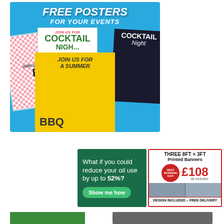[Figure (illustration): Advertisement for free posters for events, showing a blue background with white bold italic text 'FREE POSTERS FOR YOUR EVENTS' and sample event poster designs including cocktail night, BBQ summer, and checkerboard party posters]
[Figure (illustration): Green advertisement asking 'What if you could reduce your oil use by up to 52%?' with a 'Show me how' green button]
[Figure (illustration): Advertisement for THREE 8ft x 3ft Printed Banners for £108 all included, with red circular badge saying NEXT WORKING DAY, and a photo of banners displayed outdoors. Text at bottom: Design Included - FREE Delivery]
[Figure (photo): Bottom-left partial image showing green content]
[Figure (photo): Bottom-right partial image showing dark content]